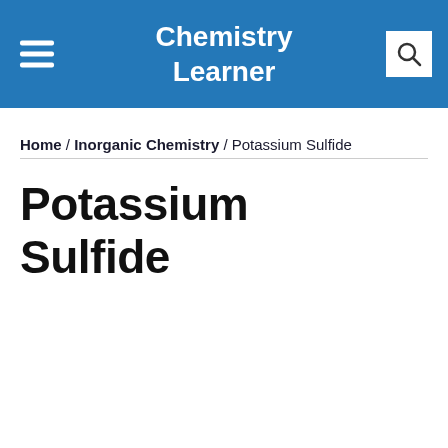Chemistry Learner
Home / Inorganic Chemistry / Potassium Sulfide
Potassium Sulfide